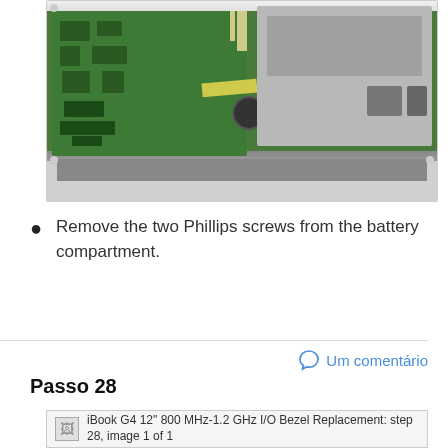[Figure (photo): Interior of an iBook G4 12-inch laptop showing the green motherboard on the left, a cooling fan in the center, yellow tape pieces, and the silver metal chassis/optical drive bay on the right, with ventilation slots at the bottom.]
Remove the two Phillips screws from the battery compartment.
Um comentário
Passo 28
[Figure (photo): iBook G4 12" 800 MHz-1.2 GHz I/O Bezel Replacement: step 28, image 1 of 1]